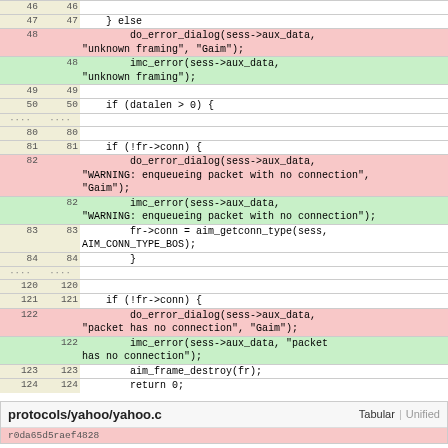| old | new | code |
| --- | --- | --- |
| 46 | 46 |  |
| 47 | 47 |     } else |
| 48 |  |     do_error_dialog(sess->aux_data, "unknown framing", "Gaim"); |
|  | 48 |     imc_error(sess->aux_data, "unknown framing"); |
| 49 | 49 |  |
| 50 | 50 |     if (datalen > 0) { |
| .... | .... |  |
| 80 | 80 |  |
| 81 | 81 |     if (!fr->conn) { |
| 82 |  |     do_error_dialog(sess->aux_data, "WARNING: enqueueing packet with no connection", "Gaim"); |
|  | 82 |     imc_error(sess->aux_data, "WARNING: enqueueing packet with no connection"); |
| 83 | 83 |     fr->conn = aim_getconn_type(sess, AIM_CONN_TYPE_BOS); |
| 84 | 84 |     } |
| .... | .... |  |
| 120 | 120 |  |
| 121 | 121 |     if (!fr->conn) { |
| 122 |  |     do_error_dialog(sess->aux_data, "packet has no connection", "Gaim"); |
|  | 122 |     imc_error(sess->aux_data, "packet has no connection"); |
| 123 | 123 |     aim_frame_destroy(fr); |
| 124 | 124 |     return 0; |
protocols/yahoo/yahoo.c
r0da65d5raef4828